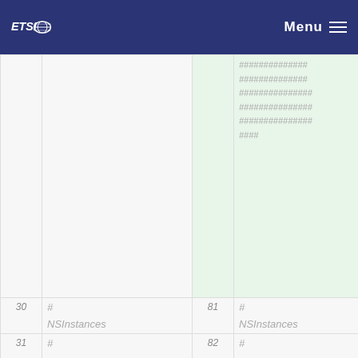ETSI Menu
| # | Content | # | Content |
| --- | --- | --- | --- |
|  |  | 81 | ############## ############## ############### ############### ############### #### |
| 30 | # NSInstances | 81 | # NSInstances |
| 31 | #
############## ############## ############## ############## ############## #### | 82 | #
################# ################# ################# ################ ################ #### |